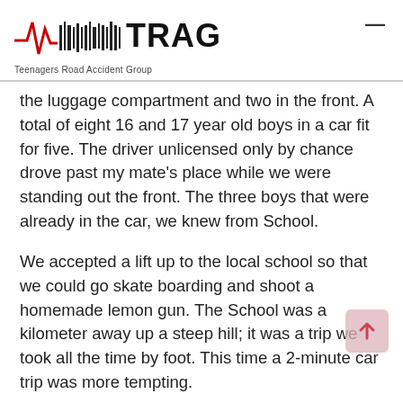TRAG — Teenagers Road Accident Group
the luggage compartment and two in the front. A total of eight 16 and 17 year old boys in a car fit for five. The driver unlicensed only by chance drove past my mate's place while we were standing out the front. The three boys that were already in the car, we knew from School.
We accepted a lift up to the local school so that we could go skate boarding and shoot a homemade lemon gun. The School was a kilometer away up a steep hill; it was a trip we took all the time by foot. This time a 2-minute car trip was more tempting.
Within 48 seconds of getting in the car, we were driving up the hill at 96km/h, the driver swerved the